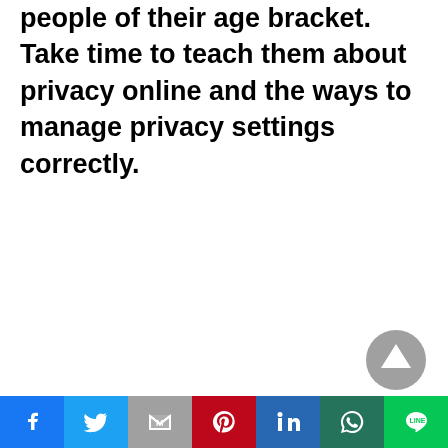ensure the content they access is suitable for people of their age bracket. Take time to teach them about privacy online and the ways to manage privacy settings correctly.
[Figure (other): Gray circular scroll-to-top button with upward triangle arrow]
Social share bar: Facebook, Twitter, Gmail, Pinterest, LinkedIn, WhatsApp, LINE